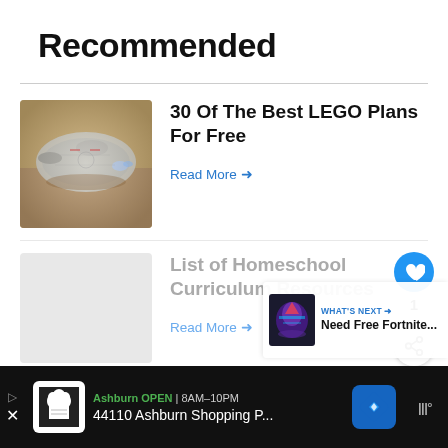Recommended
30 Of The Best LEGO Plans For Free
Read More →
List of Homeschool Curriculum Resources
Read More →
Debating The Educational
[Figure (screenshot): What's Next panel showing a Fortnite article thumbnail with label 'WHAT'S NEXT → Need Free Fortnite...']
[Figure (screenshot): Bottom advertisement bar: Ashburn OPEN 8AM-10PM, 44110 Ashburn Shopping P... with navigation icon and weather icon]